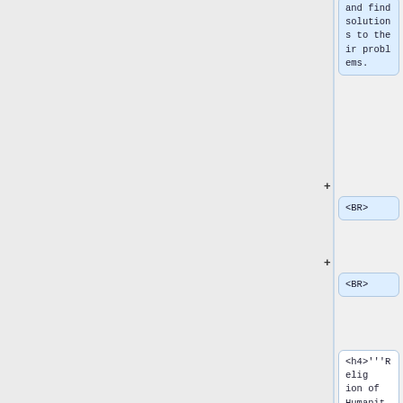and find solutions to their problems.
<BR>
<BR>
<h4>'''Religion of Humanity'''</h4>
Comte, in his later years came up with the '''''Religion of Humanity''''', which means that